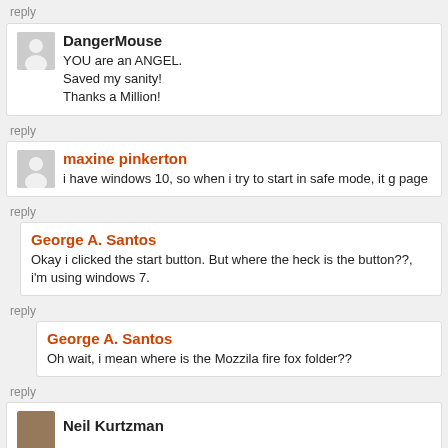reply
DangerMouse
YOU are an ANGEL.
Saved my sanity!
Thanks a Million!
reply
maxine pinkerton
i have windows 10, so when i try to start in safe mode, it g... page
reply
George A. Santos
Okay i clicked the start button. But where the heck is the button??, i'm using windows 7.
reply
George A. Santos
Oh wait, i mean where is the Mozzila fire fox folder??
reply
Neil Kurtzman